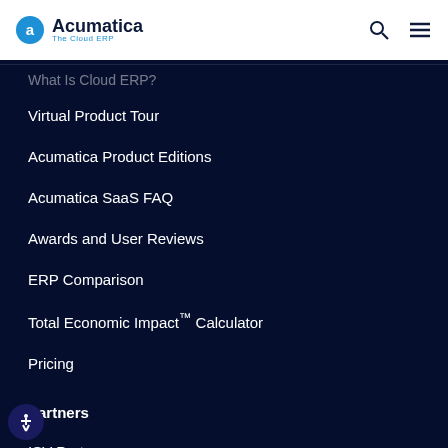Acumatica — The Cloud ERP
Virtual Product Tour
Acumatica Product Editions
Acumatica SaaS FAQ
Awards and User Reviews
ERP Comparison
Total Economic Impact™ Calculator
Pricing
Partners
ISV Partners
VAR Partners